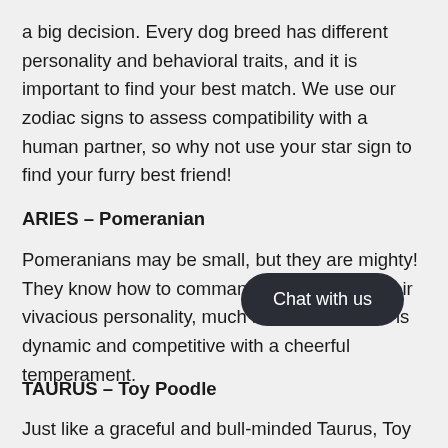a big decision. Every dog breed has different personality and behavioral traits, and it is important to find your best match. We use our zodiac signs to assess compatibility with a human partner, so why not use your star sign to find your furry best friend!
ARIES – Pomeranian
Pomeranians may be small, but they are mighty! They know how to command attention with their vivacious personality, much like an Aries who is dynamic and competitive with a cheerful temperament.
TAURUS – Toy Poodle
Just like a graceful and bull-minded Taurus, Toy